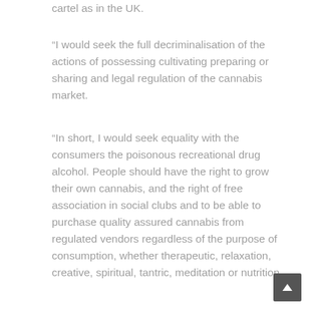cartel as in the UK.
“I would seek the full decriminalisation of the actions of possessing cultivating preparing or sharing and legal regulation of the cannabis market.
“In short, I would seek equality with the consumers the poisonous recreational drug alcohol. People should have the right to grow their own cannabis, and the right of free association in social clubs and to be able to purchase quality assured cannabis from regulated vendors regardless of the purpose of consumption, whether therapeutic, relaxation, creative, spiritual, tantric, meditation or nutrition.